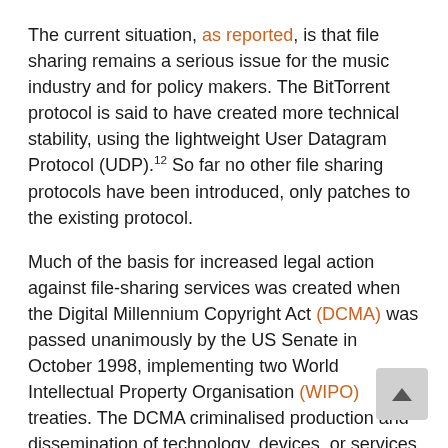The current situation, as reported, is that file sharing remains a serious issue for the music industry and for policy makers. The BitTorrent protocol is said to have created more technical stability, using the lightweight User Datagram Protocol (UDP).12 So far no other file sharing protocols have been introduced, only patches to the existing protocol.
Much of the basis for increased legal action against file-sharing services was created when the Digital Millennium Copyright Act (DCMA) was passed unanimously by the US Senate in October 1998, implementing two World Intellectual Property Organisation (WIPO) treaties. The DCMA criminalised production and dissemination of technology, devices, or services that allows users to circumvent technical copy-restriction methods used to control access to copyrighted works (known as digital rights management or DRM). It also criminalised the act of circumventing an access control, whether or not